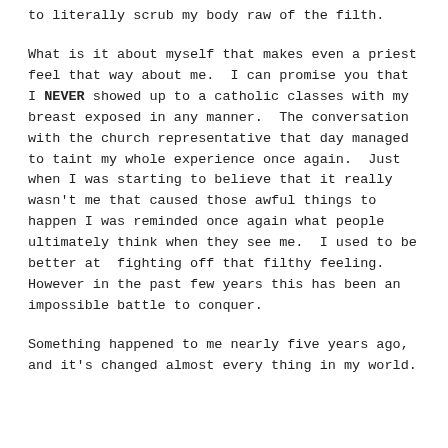to literally scrub my body raw of the filth.
What is it about myself that makes even a priest feel that way about me.  I can promise you that I NEVER showed up to a catholic classes with my breast exposed in any manner.  The conversation with the church representative that day managed to taint my whole experience once again.  Just when I was starting to believe that it really wasn't me that caused those awful things to happen I was reminded once again what people ultimately think when they see me.  I used to be better at  fighting off that filthy feeling. However in the past few years this has been an impossible battle to conquer.
Something happened to me nearly five years ago, and it's changed almost every thing in my world.